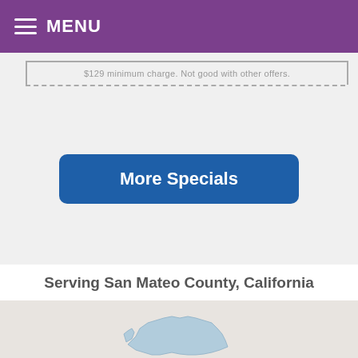MENU
$129 minimum charge. Not good with other offers.
More Specials
Serving San Mateo County, California
[Figure (map): Map showing San Mateo County, California highlighted in light blue on a beige/gray background]